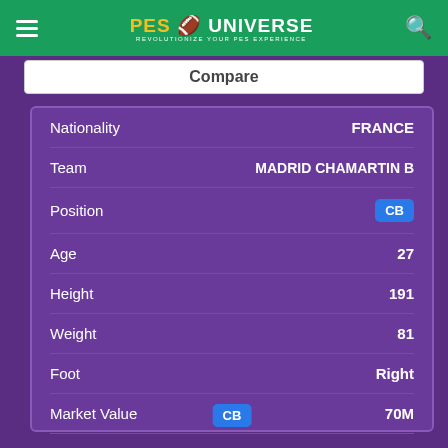PES UNIVERSE
Compare
| Attribute | Value |
| --- | --- |
| Nationality | FRANCE |
| Team | MADRID CHAMARTIN B |
| Position | CB |
| Age | 27 |
| Height | 191 |
| Weight | 81 |
| Foot | Right |
| Market Value | 70M |
| Contract End Date | 30-06-2022 |